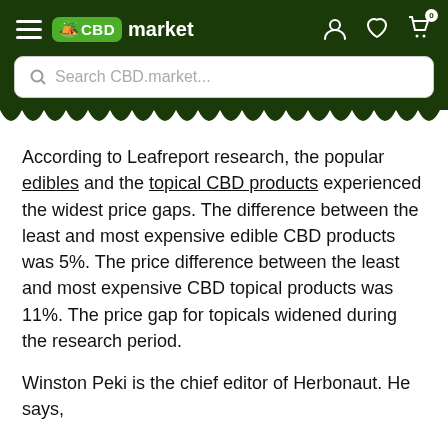CBD market — navigation header with search bar
According to Leafreport research, the popular edibles and the topical CBD products experienced the widest price gaps. The difference between the least and most expensive edible CBD products was 5%. The price difference between the least and most expensive CBD topical products was 11%. The price gap for topicals widened during the research period.
Winston Peki is the chief editor of Herbonaut. He says,